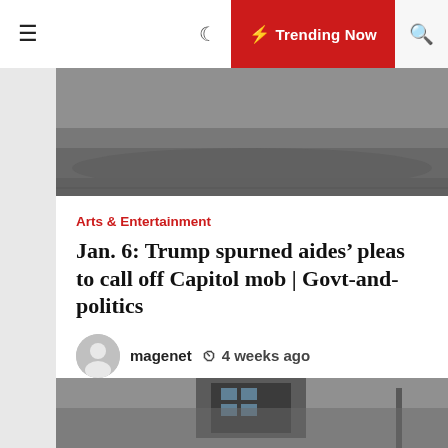Navigation bar with hamburger menu, moon icon, Trending Now button, and search icon
[Figure (photo): Dark rainy road scene, hero image at top of article card]
Arts & Entertainment
Jan. 6: Trump spurned aides' pleas to call off Capitol mob | Govt-and-politics
magenet   4 weeks ago
By LISA MASCARO, FARNOUSH AMIRI and ERIC TUCKER – Linked Push WASHINGTON (AP) — In spite of desperate pleas from aides, allies, a Republican congressional chief and even his family, Donald Trump refused to get in touch with off the Jan. 6 mob attack on the Capitol, rather “pouring gasoline […]
[Figure (photo): Carvana building exterior against cloudy grey sky]